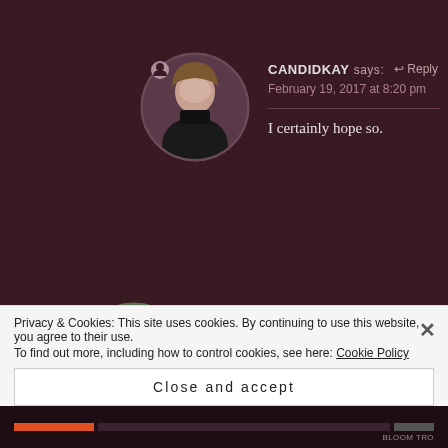[Figure (photo): Circular avatar photo of CANDIDKAY, a woman with short brown hair wearing a black turtleneck, with a small user icon overlay]
CANDIDKAY says:
↩ Reply
February 19, 2017 at 8:20 pm
I certainly hope so.
[Figure (photo): Circular avatar photo of DINNERBYSUSAN, a woman in dark clothing outdoors]
DINNERBYSUSAN says:
↩ Reply
February 19, 2017 at 6:59 pm
Feeling such sorrow for your loss. What
Privacy & Cookies: This site uses cookies. By continuing to use this website, you agree to their use.
To find out more, including how to control cookies, see here: Cookie Policy
Close and accept